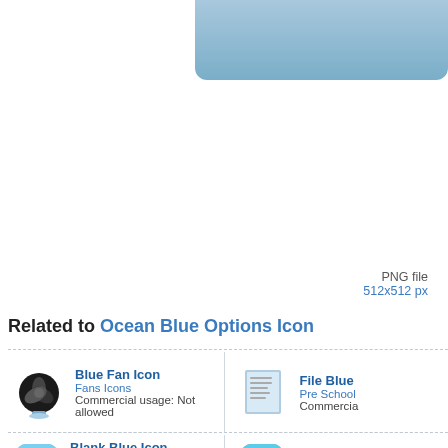[Figure (illustration): Blue rounded rectangle decorative element at top of page, partially cropped]
PNG file
512x512 px
Related to Ocean Blue Options Icon
Blue Fan Icon
Fans Icons
Commercial usage: Not allowed
File Blue
Pre School
Commercial usage: Not allowed
Blank Blue Icon
Social Media Icon Set
Commercial usage: Not allowed
Blue Styl
Web Icon B
Commercial usage: Not allowed
Blue Ray Disc Icon
CD Stock Icons
Commercial usage: Not allowed
Safari Blu
Safari Icons
Commercial usage: Not allowed
Blue Old Paper Icon
Ray Blu